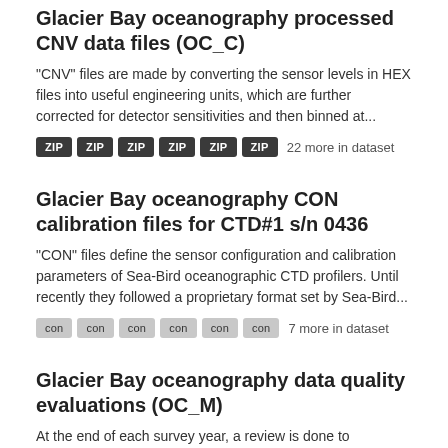Glacier Bay oceanography processed CNV data files (OC_C)
"CNV" files are made by converting the sensor levels in HEX files into useful engineering units, which are further corrected for detector sensitivities and then binned at...
ZIP ZIP ZIP ZIP ZIP ZIP  22 more in dataset
Glacier Bay oceanography CON calibration files for CTD#1 s/n 0436
"CON" files define the sensor configuration and calibration parameters of Sea-Bird oceanographic CTD profilers. Until recently they followed a proprietary format set by Sea-Bird...
con con con con con con  7 more in dataset
Glacier Bay oceanography data quality evaluations (OC_M)
At the end of each survey year, a review is done to determine if post-season calibration data (OC_G) indicate that sensor drift over the cruise year is significant. The